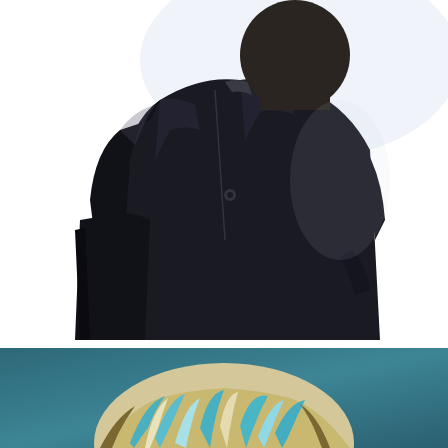[Figure (photo): A person wearing a dark black jacket/coat, shown from the neck down, holding a dark item under their left arm, against a bright white background. The photo is high-contrast with dramatic lighting.]
[Figure (photo): Top portion of a person's head with light blonde/white and teal/blue highlighted hair, photographed against a teal/blue background. Only the top of the head is visible, cropped at the bottom of the page.]